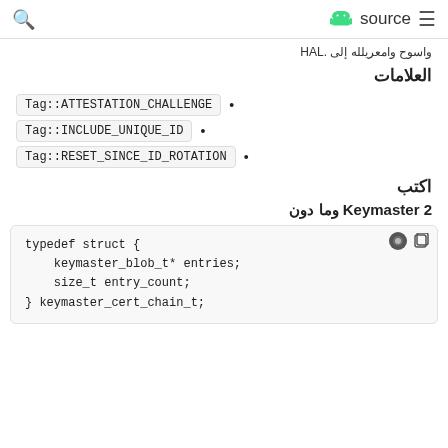source
واسوح والمعريلله إلى .HAL
العلامات
Tag::ATTESTATION_CHALLENGE
Tag::INCLUDE_UNIQUE_ID
Tag::RESET_SINCE_ID_ROTATION
اكتب
Keymaster 2 وما دون
[Figure (screenshot): Code block showing typedef struct with keymaster_blob_t* entries, size_t entry_count, and } keymaster_cert_chain_t;]